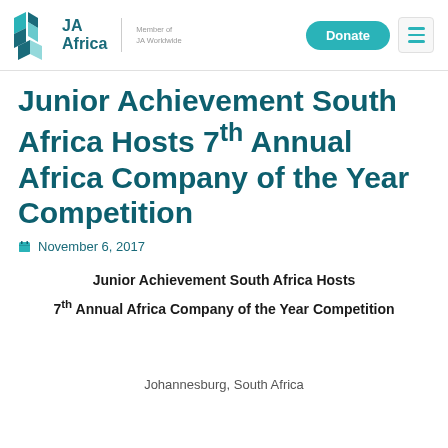[Figure (logo): JA Africa logo with teal geometric diamond shape and text 'JA Africa', with 'Member of JA Worldwide' tagline, plus Donate button and hamburger menu]
Junior Achievement South Africa Hosts 7th Annual Africa Company of the Year Competition
November 6, 2017
Junior Achievement South Africa Hosts
7th Annual Africa Company of the Year Competition
Johannesburg, South Africa